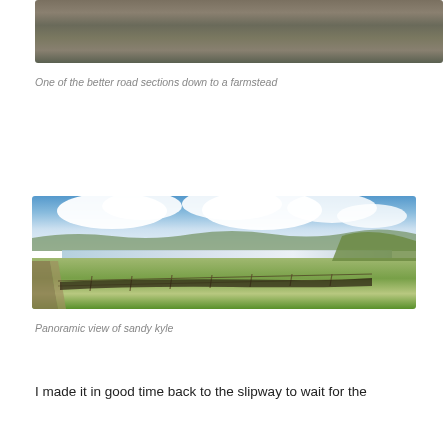[Figure (photo): Top portion of a road/gravel path scene, showing rocky ground surface — partial image at top of page]
One of the better road sections down to a farmstead
[Figure (photo): Panoramic landscape photo showing a wide sandy bay (kyle) with a dirt track on the left, green fields with fencing in the foreground, sandy beach and water in the middle distance, hills/mountains in the background, and dramatic clouds in a blue sky]
Panoramic view of sandy kyle
I made it in good time back to the slipway to wait for the